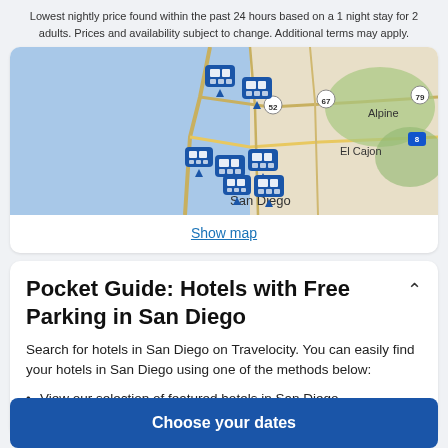Lowest nightly price found within the past 24 hours based on a 1 night stay for 2 adults. Prices and availability subject to change. Additional terms may apply.
[Figure (map): Map of San Diego area showing hotel pin markers in blue around the San Diego and El Cajon area, with roads and geography visible. Hotel icons clustered near downtown San Diego and nearby areas.]
Show map
Pocket Guide: Hotels with Free Parking in San Diego
Search for hotels in San Diego on Travelocity. You can easily find your hotels in San Diego using one of the methods below:
View our selection of featured hotels in San Diego
Choose your dates